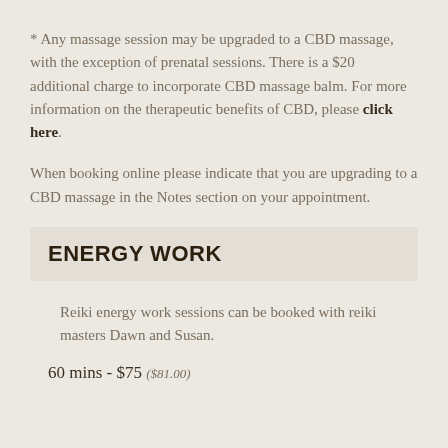* Any massage session may be upgraded to a CBD massage, with the exception of prenatal sessions. There is a $20 additional charge to incorporate CBD massage balm. For more information on the therapeutic benefits of CBD, please click here.
When booking online please indicate that you are upgrading to a CBD massage in the Notes section on your appointment.
ENERGY WORK
Reiki energy work sessions can be booked with reiki masters Dawn and Susan.
60 mins - $75 ($81.00)